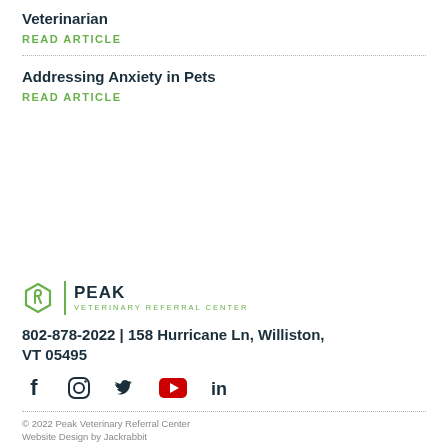Veterinarian
READ ARTICLE
Addressing Anxiety in Pets
READ ARTICLE
[Figure (logo): Peak Veterinary Referral Center logo with green hexagon icon and text]
802-878-2022 | 158 Hurricane Ln, Williston, VT 05495
[Figure (infographic): Social media icons: Facebook, Instagram, Twitter, YouTube, LinkedIn]
© 2022 Peak Veterinary Referral Center
Website Design by Jackrabbit